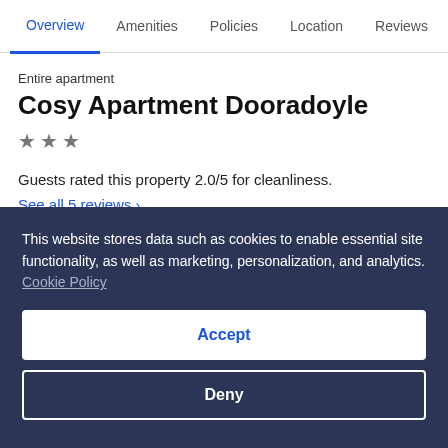Overview  Amenities  Policies  Location  Reviews
Entire apartment
Cosy Apartment Dooradoyle
★ ★ ★
Guests rated this property 2.0/5 for cleanliness.
See all 5 reviews >
This website stores data such as cookies to enable essential site functionality, as well as marketing, personalization, and analytics. Cookie Policy
Accept
Deny